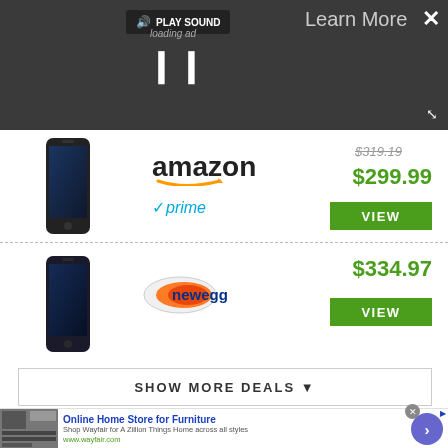[Figure (screenshot): Video ad player bar with dark background showing PLAY SOUND button, Learn More text, close X, loading ad text, pause button, and expand icon]
[Figure (photo): Samsung Galaxy S8 smartphone product image for Amazon listing]
[Figure (logo): Amazon logo with orange smile arrow]
[Figure (logo): Amazon Prime logo with checkmark]
$319.19
$299.99
VIEW
[Figure (photo): Samsung Galaxy S8 smartphone product image for Newegg listing]
[Figure (logo): Newegg logo]
$334.97
VIEW
SHOW MORE DEALS ▼
[Figure (screenshot): Wayfair advertisement banner: Online Home Store for Furniture, Shop Wayfair for A Zillion Things Home across all styles, www.wayfair.com]